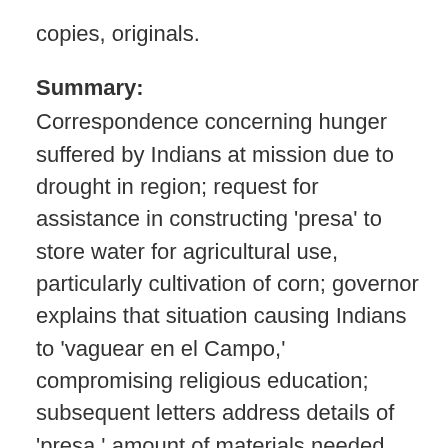copies, originals.
Summary:
Correspondence concerning hunger suffered by Indians at mission due to drought in region; request for assistance in constructing 'presa' to store water for agricultural use, particularly cultivation of corn; governor explains that situation causing Indians to 'vaguear en el Campo,' compromising religious education; subsequent letters address details of 'presa,' amount of materials needed, cost, location selected; no one contracts to construct 'presa,' governor requests that necessary amount instead be sent directly to 'presidente' of mission; funds approved, almost two years after original